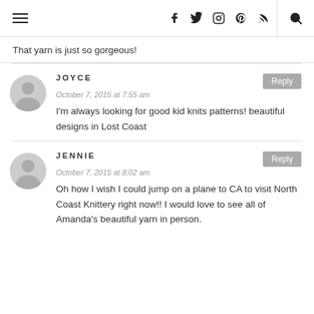Navigation header with hamburger menu, social icons (Facebook, Twitter, Instagram, Pinterest, RSS), and search
That yarn is just so gorgeous!
JOYCE — October 7, 2015 at 7:55 am — I'm always looking for good kid knits patterns! beautiful designs in Lost Coast
JENNIE — October 7, 2015 at 8:02 am — Oh how I wish I could jump on a plane to CA to visit North Coast Knittery right now!! I would love to see all of Amanda's beautiful yarn in person.